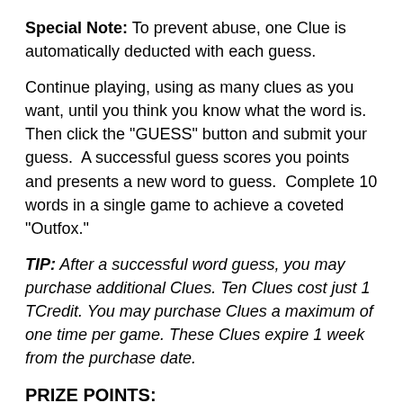Special Note: To prevent abuse, one Clue is automatically deducted with each guess.
Continue playing, using as many clues as you want, until you think you know what the word is. Then click the "GUESS" button and submit your guess. A successful guess scores you points and presents a new word to guess. Complete 10 words in a single game to achieve a coveted "Outfox."
TIP: After a successful word guess, you may purchase additional Clues. Ten Clues cost just 1 TCredit. You may purchase Clues a maximum of one time per game. These Clues expire 1 week from the purchase date.
PRIZE POINTS:
While the objective of HIDDEN is to guess as many words as you can, you're also earning a separate set of "Prize Points"